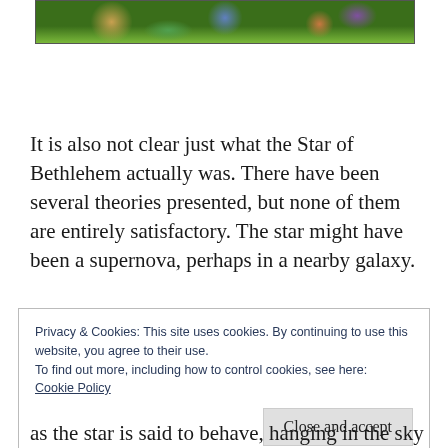[Figure (illustration): Partial view of a medieval or Renaissance-style painting showing figures in a garden scene with colorful garments and green foliage.]
It is also not clear just what the Star of Bethlehem actually was. There have been several theories presented, but none of them are entirely satisfactory. The star might have been a supernova, perhaps in a nearby galaxy.
Privacy & Cookies: This site uses cookies. By continuing to use this website, you agree to their use.
To find out more, including how to control cookies, see here:
Cookie Policy
Close and accept
as the star is said to behave, hanging in the sky